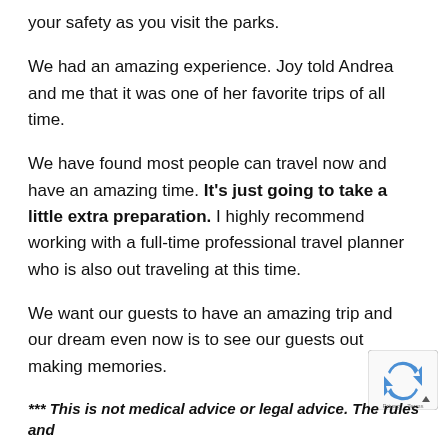your safety as you visit the parks.
We had an amazing experience. Joy told Andrea and me that it was one of her favorite trips of all time.
We have found most people can travel now and have an amazing time. It's just going to take a little extra preparation. I highly recommend working with a full-time professional travel planner who is also out traveling at this time.
We want our guests to have an amazing trip and our dream even now is to see our guests out making memories.
*** This is not medical advice or legal advice. The rules and